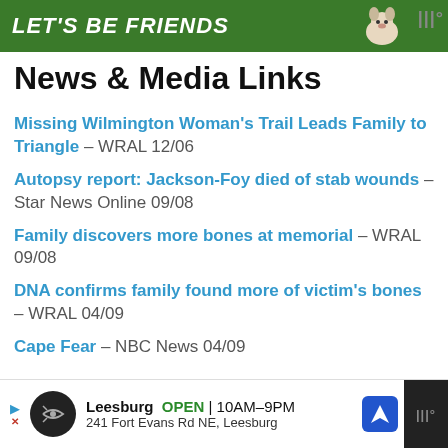[Figure (other): Green banner advertisement with white bold italic text 'LET'S BE FRIENDS' and a dog image on the right]
News & Media Links
Missing Wilmington Woman's Trail Leads Family to Triangle – WRAL 12/06
Autopsy report: Jackson-Foy died of stab wounds – Star News Online 09/08
Family discovers more bones at memorial – WRAL 09/08
DNA confirms family found more of victim's bones – WRAL 04/09
Cape Fear – NBC News 04/09
[Figure (other): Bottom advertisement banner: Leesburg OPEN 10AM-9PM, 241 Fort Evans Rd NE, Leesburg]